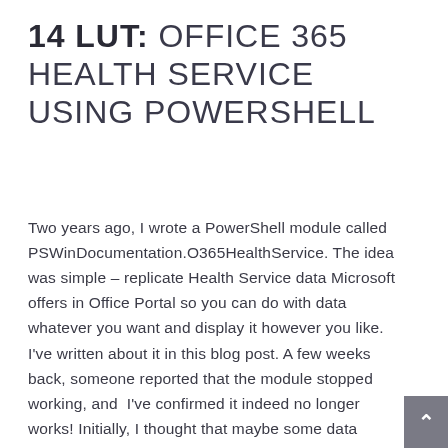14 LUT: OFFICE 365 HEALTH SERVICE USING POWERSHELL
Two years ago, I wrote a PowerShell module called PSWinDocumentation.O365HealthService. The idea was simple – replicate Health Service data Microsoft offers in Office Portal so you can do with data whatever you want and display it however you like. I've written about it in this blog post. A few weeks back, someone reported that the module stopped working, and I've confirmed it indeed no longer works! Initially, I thought that maybe some data format changed, as it changed multiple times, or perhaps the date format was wrong again, but no. Microsoft has deprecated Office 365 Service Communications API